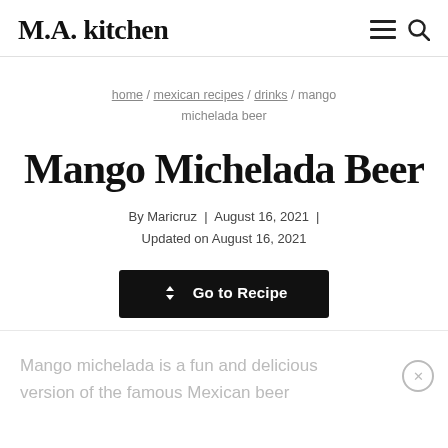M.A. kitchen
home / mexican recipes / drinks / mango michelada beer
Mango Michelada Beer
By Maricruz | August 16, 2021 | Updated on August 16, 2021
Go to Recipe
Mango michelada is a fun and delicious version of the famous Mexican beer